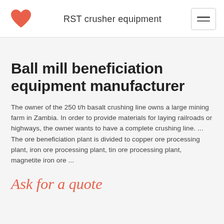RST crusher equipment
Ball mill beneficiation equipment manufacturer
The owner of the 250 t/h basalt crushing line owns a large mining farm in Zambia. In order to provide materials for laying railroads or highways, the owner wants to have a complete crushing line. ... The ore beneficiation plant is divided to copper ore processing plant, iron ore processing plant, tin ore processing plant, magnetite iron ore ...
Ask for a quote